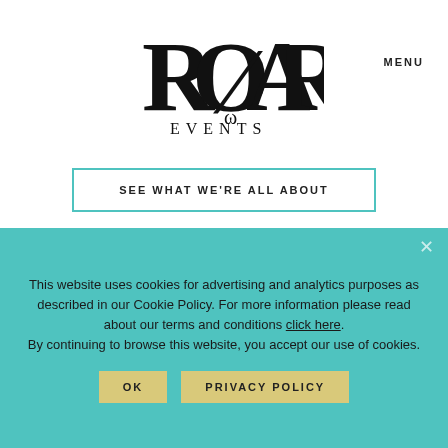[Figure (logo): ROAR Events logo in black serif typeface]
MENU
SEE WHAT WE'RE ALL ABOUT
NEWSLETTER
This website uses cookies for advertising and analytics purposes as described in our Cookie Policy. For more information please read about our terms and conditions click here. By continuing to browse this website, you accept our use of cookies.
OK
PRIVACY POLICY